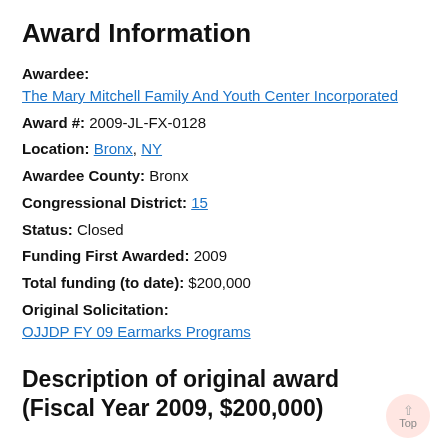Award Information
Awardee: The Mary Mitchell Family And Youth Center Incorporated
Award #: 2009-JL-FX-0128
Location: Bronx, NY
Awardee County: Bronx
Congressional District: 15
Status: Closed
Funding First Awarded: 2009
Total funding (to date): $200,000
Original Solicitation: OJJDP FY 09 Earmarks Programs
Description of original award (Fiscal Year 2009, $200,000)